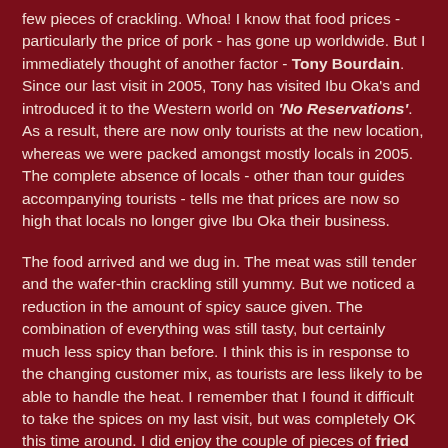few pieces of crackling. Whoa! I know that food prices - particularly the price of pork - has gone up worldwide. But I immediately thought of another factor - Tony Bourdain. Since our last visit in 2005, Tony has visited Ibu Oka's and introduced it to the Western world on 'No Reservations'. As a result, there are now only tourists at the new location, whereas we were packed amongst mostly locals in 2005. The complete absence of locals - other than tour guides accompanying tourists - tells me that prices are now so high that locals no longer give Ibu Oka their business.
The food arrived and we dug in. The meat was still tender and the wafer-thin crackling still yummy. But we noticed a reduction in the amount of spicy sauce given. The combination of everything was still tasty, but certainly much less spicy than before. I think this is in response to the changing customer mix, as tourists are less likely to be able to handle the heat. I remember that I found it difficult to take the spices on my last visit, but was completely OK this time around. I did enjoy the couple of pieces of fried pig intestines, although I thought the blood sausage was a bit too dry.